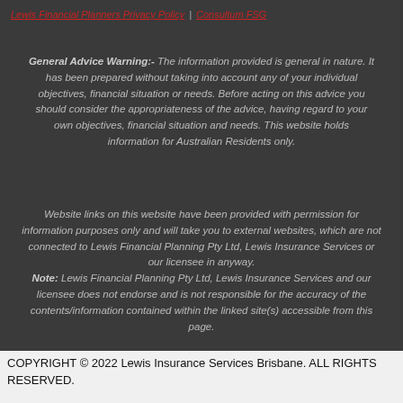Lewis Financial Planners Privacy Policy  |  Consultum FSG
General Advice Warning:- The information provided is general in nature. It has been prepared without taking into account any of your individual objectives, financial situation or needs. Before acting on this advice you should consider the appropriateness of the advice, having regard to your own objectives, financial situation and needs. This website holds information for Australian Residents only.
Website links on this website have been provided with permission for information purposes only and will take you to external websites, which are not connected to Lewis Financial Planning Pty Ltd, Lewis Insurance Services or our licensee in anyway. Note: Lewis Financial Planning Pty Ltd, Lewis Insurance Services and our licensee does not endorse and is not responsible for the accuracy of the contents/information contained within the linked site(s) accessible from this page.
COPYRIGHT © 2022 Lewis Insurance Services Brisbane. ALL RIGHTS RESERVED.